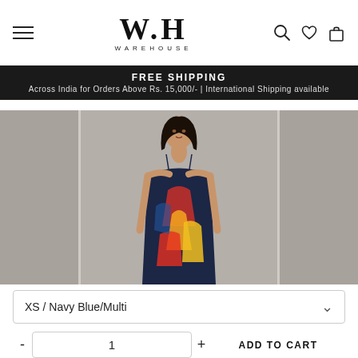W.H WAREHOUSE
FREE SHIPPING
Across India for Orders Above Rs. 15,000/- | International Shipping available
[Figure (photo): Female model wearing a colorful navy blue/multi print spaghetti strap dress against a grey background]
XS / Navy Blue/Multi
- 1 + ADD TO CART